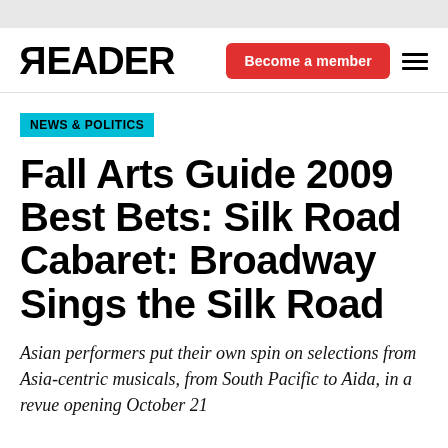READER — Become a member
NEWS & POLITICS
Fall Arts Guide 2009 Best Bets: Silk Road Cabaret: Broadway Sings the Silk Road
Asian performers put their own spin on selections from Asia-centric musicals, from South Pacific to Aida, in a revue opening October 21